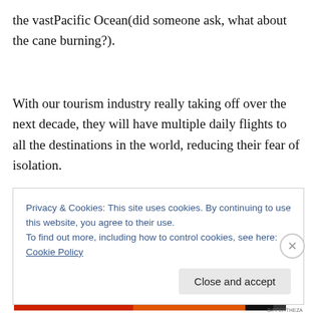the vastPacific Ocean(did someone ask, what about the cane burning?).
With our tourism industry really taking off over the next decade, they will have multiple daily flights to all the destinations in the world, reducing their fear of isolation.
And perhaps at the end of it all, what about a cheap
Privacy & Cookies: This site uses cookies. By continuing to use this website, you agree to their use.
To find out more, including how to control cookies, see here: Cookie Policy